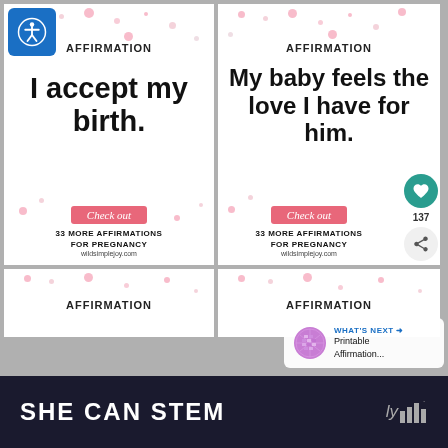[Figure (screenshot): Screenshot of a social media post showing pregnancy affirmation cards. Card 1: 'AFFIRMATION - I accept my birth.' Card 2: 'AFFIRMATION - My baby feels the love I have for him.' Both cards have a pink 'Check out' button and text '33 MORE AFFIRMATIONS FOR PREGNANCY wildsimplejoy.com'. Two partial cards visible below. Overlays include accessibility icon, like button (137), share button, and 'WHAT'S NEXT -> Printable Affirmation...' panel. Bottom bar says 'SHE CAN STEM' with logo.]